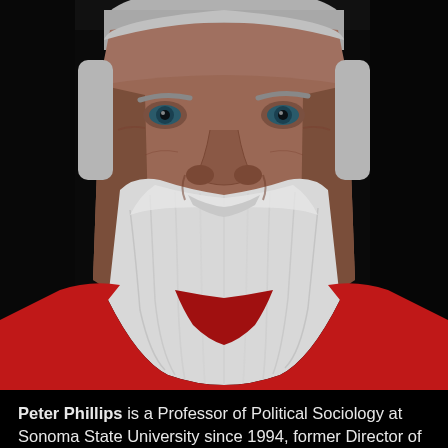[Figure (photo): Close-up portrait of an elderly man with a large white beard and white hair, wearing a red shirt, against a dark background. He has blue-green eyes and weathered skin.]
Peter Phillips is a Professor of Political Sociology at Sonoma State University since 1994, former Director of Project Censored 1996 to 2010 and President of Media Freedom Foundation 2003 to 2017. He has been editor